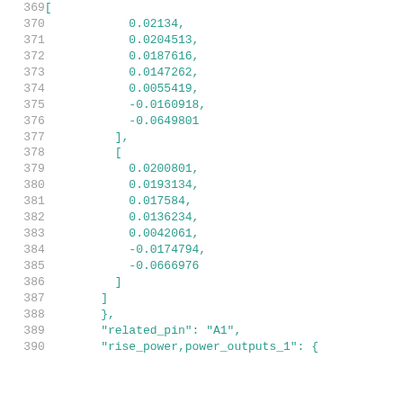Code listing lines 369–390 showing JSON numeric array data and related_pin / rise_power fields